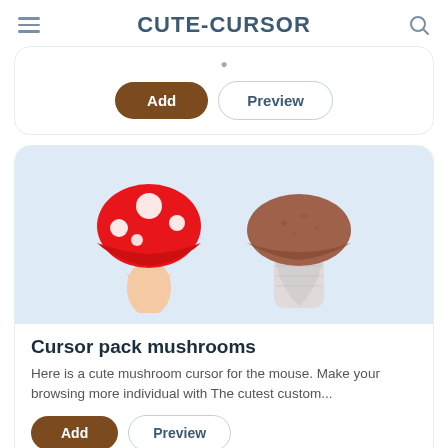CUTE-CURSOR
[Figure (illustration): Partial card with Add and Preview buttons at the top of the page]
[Figure (illustration): Two mushroom illustrations: a red mushroom with white spots (fly agaric) and a brown mushroom (porcini/cep) on a light blue background]
Cursor pack mushrooms
Here is a cute mushroom cursor for the mouse. Make your browsing more individual with The cutest custom...